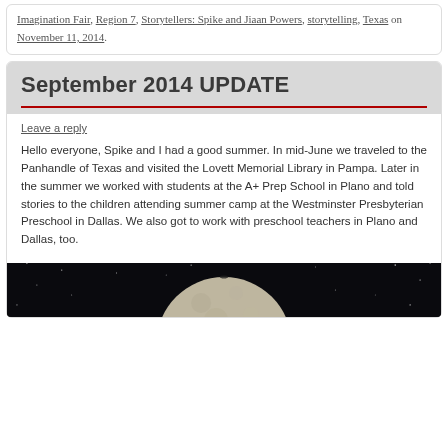Imagination Fair, Region 7, Storytellers: Spike and Jiaan Powers, storytelling, Texas on November 11, 2014.
September 2014 UPDATE
Leave a reply
Hello everyone, Spike and I had a good summer. In mid-June we traveled to the Panhandle of Texas and visited the Lovett Memorial Library in Pampa. Later in the summer we worked with students at the A+ Prep School in Plano and told stories to the children attending summer camp at the Westminster Presbyterian Preschool in Dallas. We also got to work with preschool teachers in Plano and Dallas, too.
[Figure (photo): Night sky photo showing a large full moon against a dark starry sky background]